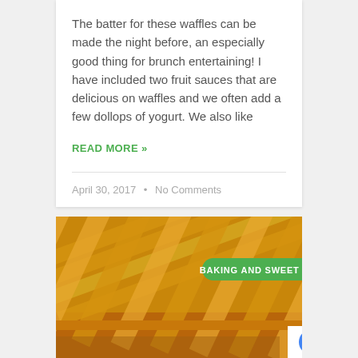The batter for these waffles can be made the night before, an especially good thing for brunch entertaining!  I have included two fruit sauces that are delicious on waffles and we often add a few dollops of yogurt.  We also like
READ MORE »
April 30, 2017  •  No Comments
[Figure (photo): Close-up photo of lattice-top pastry pies with golden-brown crust, with a green badge reading 'BAKING AND SWEET ENDINGS' and a reCAPTCHA badge in the bottom right corner.]